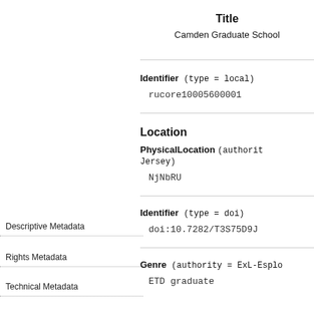Title
Camden Graduate School
Identifier (type = local)
rucore10005600001
Location
PhysicalLocation (authority = ... Jersey)
NjNbRU
Descriptive Metadata
Rights Metadata
Technical Metadata
Identifier (type = doi)
doi:10.7282/T3S75D9J
Genre (authority = ExL-Esplo
ETD graduate